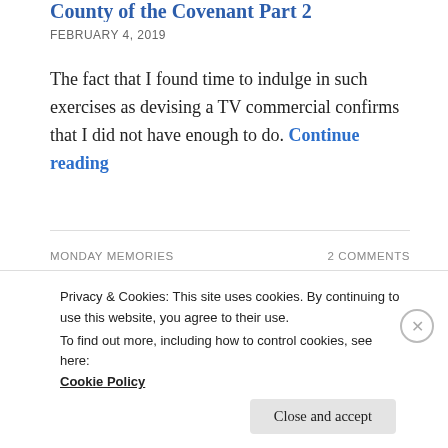County of the Covenant Part 2
FEBRUARY 4, 2019
The fact that I found time to indulge in such exercises as devising a TV commercial confirms that I did not have enough to do. Continue reading
MONDAY MEMORIES
2 COMMENTS
[Figure (photo): Street scene with cars and people in a residential area, partially obscured, right portion dark/black]
Privacy & Cookies: This site uses cookies. By continuing to use this website, you agree to their use.
To find out more, including how to control cookies, see here:
Cookie Policy
Close and accept